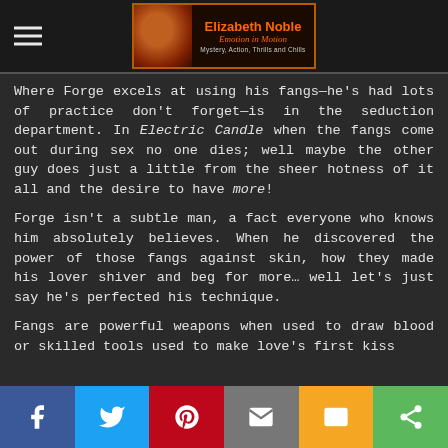Elizabeth Noble — Emotion in Motion
Where Forge excels at using his fangs—he's had lots of practice don't forget—is in the seduction department. In Electric Candle when the fangs come out during sex no one dies; well maybe the other guy does just a little from the sheer hotness of it all and the desire to have more!
Forge isn't a subtle man, a fact everyone who knows him absolutely believes. When he discovered the power of those fangs against skin, how they made his lover shiver and beg for more… well let's just say he's perfected his technique.
Fangs are powerful weapons when used to draw blood or skilled tools used to make love's first kiss
Social share bar: Facebook, Twitter, Pinterest, Email, SMS, Share